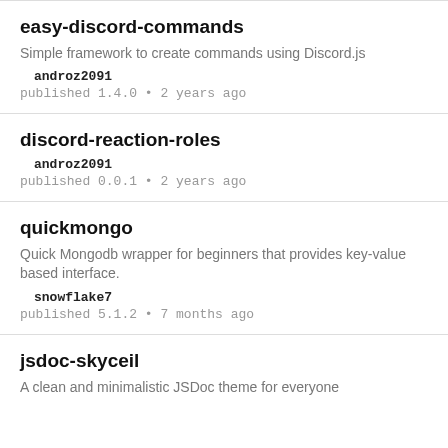easy-discord-commands
Simple framework to create commands using Discord.js
androz2091
published 1.4.0 • 2 years ago
discord-reaction-roles
androz2091
published 0.0.1 • 2 years ago
quickmongo
Quick Mongodb wrapper for beginners that provides key-value based interface.
snowflake7
published 5.1.2 • 7 months ago
jsdoc-skyceil
A clean and minimalistic JSDoc theme for everyone